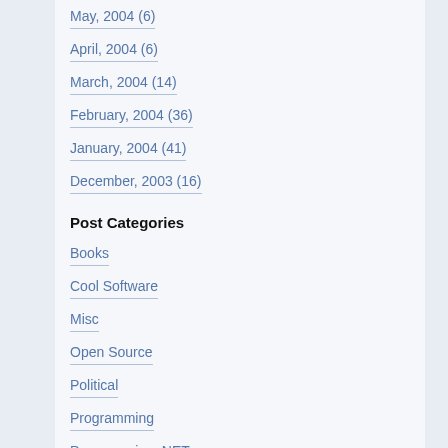May, 2004 (6)
April, 2004 (6)
March, 2004 (14)
February, 2004 (36)
January, 2004 (41)
December, 2003 (16)
Post Categories
Books
Cool Software
Misc
Open Source
Political
Programming
Programming .NET
Quotations
Technology
other stuff